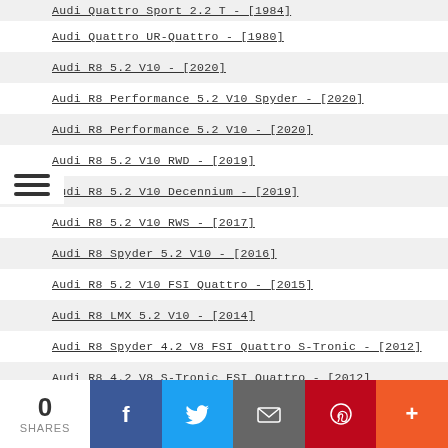Audi Quattro Sport 2.2 T - [1984]
Audi Quattro UR-Quattro - [1980]
Audi R8 5.2 V10 - [2020]
Audi R8 Performance 5.2 V10 Spyder - [2020]
Audi R8 Performance 5.2 V10 - [2020]
Audi R8 5.2 V10 RWD - [2019]
Audi R8 5.2 V10 Decennium - [2019]
Audi R8 5.2 V10 RWS - [2017]
Audi R8 Spyder 5.2 V10 - [2016]
Audi R8 5.2 V10 FSI Quattro - [2015]
Audi R8 LMX 5.2 V10 - [2014]
Audi R8 Spyder 4.2 V8 FSI Quattro S-Tronic - [2012]
Audi R8 4.2 V8 S-Tronic FSI Quattro - [2012]
Audi R8 Plus S-Tronic 5.2 V10 - [2012]
Audi R8 5.2 V10 Spyder - [2012]
Audi R8 Plus 5.2 V10 - [2012]